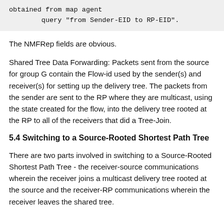obtained from map agent
        query "from Sender-EID to RP-EID".
The NMFRep fields are obvious.
Shared Tree Data Forwarding: Packets sent from the source for group G contain the Flow-id used by the sender(s) and receiver(s) for setting up the delivery tree. The packets from the sender are sent to the RP where they are multicast, using the state created for the flow, into the delivery tree rooted at the RP to all of the receivers that did a Tree-Join.
5.4 Switching to a Source-Rooted Shortest Path Tree
There are two parts involved in switching to a Source-Rooted Shortest Path Tree - the receiver-source communications wherein the receiver joins a multicast delivery tree rooted at the source and the receiver-RP communications wherein the receiver leaves the shared tree.